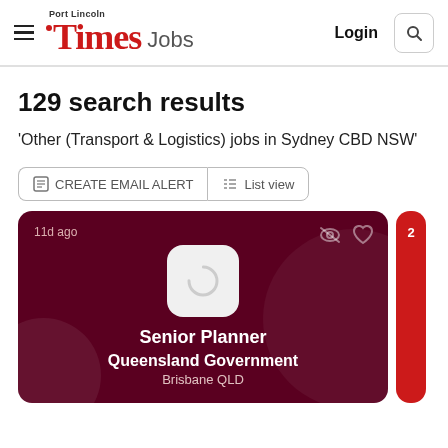Port Lincoln Times Jobs — Login
129 search results
'Other (Transport & Logistics) jobs in Sydney CBD NSW'
CREATE EMAIL ALERT
List view
[Figure (other): Job listing card for Senior Planner at Queensland Government, Brisbane QLD, posted 11 days ago. Dark maroon background with company logo placeholder, heart and visibility icons.]